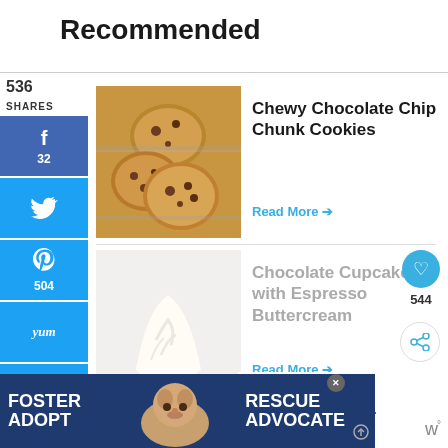Recommended
[Figure (photo): Photo of stacked chocolate chip cookies on a wire rack]
Chewy Chocolate Chip Chunk Cookies
Read More →
[Figure (photo): Photo of a white frosted cupcake with swirled buttercream]
Chocolate Cupcakes with Espresso Buttercream
Read More →
536 SHARES
32
504
3
544
WHAT'S NEXT → Chocolate Chip Muffins...
[Figure (photo): Advertisement banner: FOSTER ADOPT / RESCUE ADVOCATE with a dog photo]